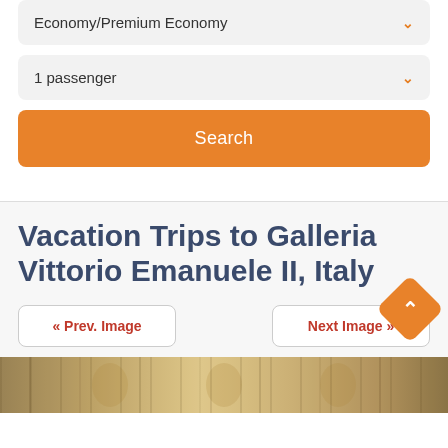Economy/Premium Economy
1 passenger
Search
Vacation Trips to Galleria Vittorio Emanuele II, Italy
« Prev. Image
Next Image »
[Figure (photo): Bottom strip showing interior architecture photo of Galleria Vittorio Emanuele II, Italy]